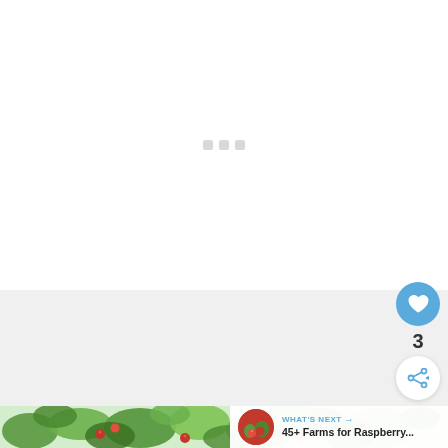[Figure (other): White loading screen with three small grey placeholder squares arranged horizontally in the center, representing a loading state for a web article page.]
[Figure (other): Blue circular like/heart button (FAB) on the right side, with a count of 3 below it and a white circular share button below that.]
3
[Figure (photo): Photograph of raspberry bush with green leaves and red raspberries, partially visible at the bottom of the page.]
WHAT'S NEXT → 45+ Farms for Raspberry...